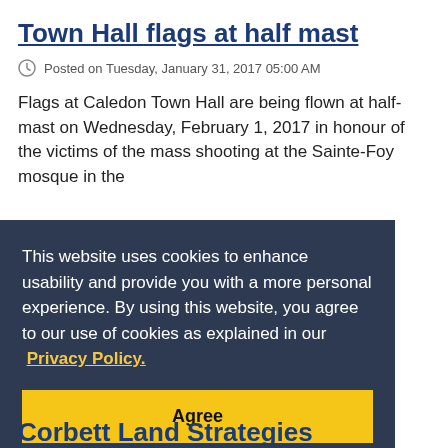Town Hall flags at half mast
Posted on Tuesday, January 31, 2017 05:00 AM
Flags at Caledon Town Hall are being flown at half-mast on Wednesday, February 1, 2017 in honour of the victims of the mass shooting at the Sainte-Foy mosque in the
This website uses cookies to enhance usability and provide you with a more personal experience. By using this website, you agree to our use of cookies as explained in our Privacy Policy.
Agree
Corbett Land Strategies